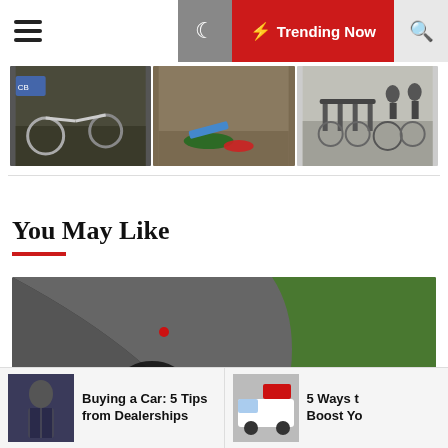☰  🌙  ⚡ Trending Now  🔍
[Figure (photo): Strip of three photos showing bicycles and cycling-related scenes]
You May Like
[Figure (photo): Formula racing car (red and white, number 9) cornering on a race track]
Buying a Car: 5 Tips from Dealerships
5 Ways to Boost Yo…